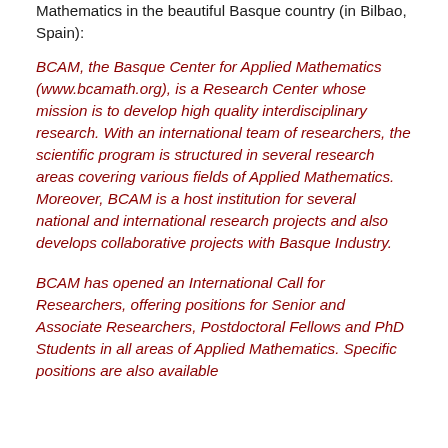Mathematics in the beautiful Basque country (in Bilbao, Spain):
BCAM, the Basque Center for Applied Mathematics (www.bcamath.org), is a Research Center whose mission is to develop high quality interdisciplinary research. With an international team of researchers, the scientific program is structured in several research areas covering various fields of Applied Mathematics. Moreover, BCAM is a host institution for several national and international research projects and also develops collaborative projects with Basque Industry.
BCAM has opened an International Call for Researchers, offering positions for Senior and Associate Researchers, Postdoctoral Fellows and PhD Students in all areas of Applied Mathematics. Specific positions are also available